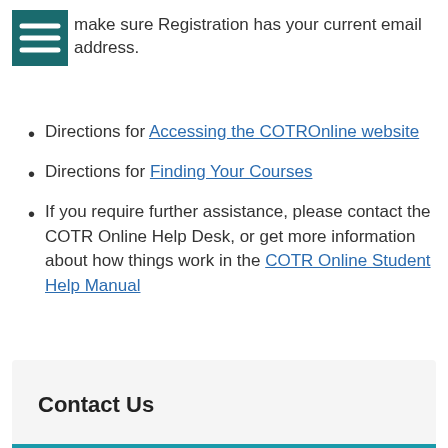make sure Registration has your current email address.
Directions for Accessing the COTROnline website
Directions for Finding Your Courses
If you require further assistance, please contact the COTR Online Help Desk, or get more information about how things work in the COTR Online Student Help Manual
Contact Us